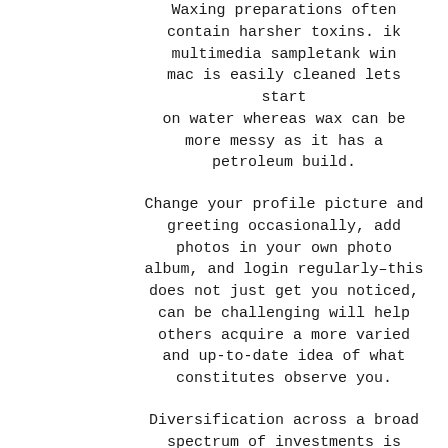Waxing preparations often contain harsher toxins. ik multimedia sampletank win mac is easily cleaned lets start on water whereas wax can be more messy as it has a petroleum build.
Change your profile picture and greeting occasionally, add photos in your own photo album, and login regularly–this does not just get you noticed, can be challenging will help others acquire a more varied and up-to-date idea of what constitutes observe you.
Diversification across a broad spectrum of investments is usually a good challenge. Your Investment Advisor can an individual select asset classes which are appropriate anyone.